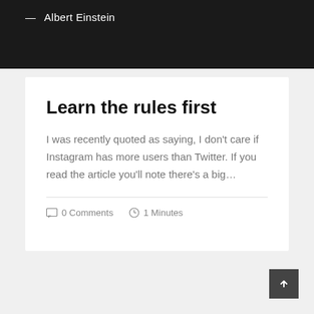— Albert Einstein
Learn the rules first
I was recently quoted as saying, I don't care if Instagram has more users than Twitter. If you read the article you'll note there's a big…
0 Comments  1 Minutes